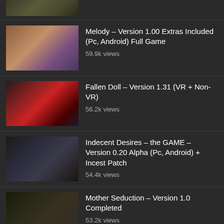[Figure (screenshot): Partial thumbnail of a game at top of list]
Melody – Version 1.00 Extras Included (Pc, Android) Full Game
59.9k views
Fallen Doll – Version 1.31 (VR + Non-VR)
56.2k views
Indecent Desires – the GAME – Version 0.20 Alpha (Pc, Android) + Incest Patch
54.4k views
Mother Seduction – Version 1.0 Completed
53.2k views
Game of Whores – Version 0.21 (Pc, Android) + G...